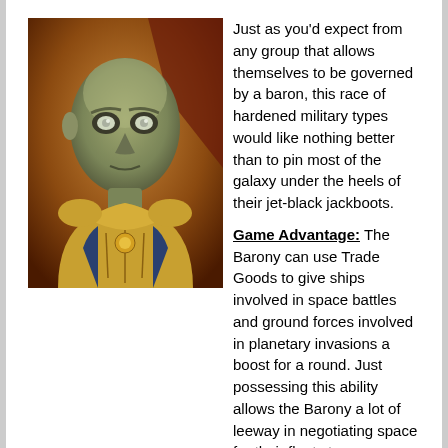[Figure (illustration): Painted fantasy/sci-fi illustration of a pale, bald, gaunt humanoid figure with silver eyes wearing ornate golden and blue armour, set against a warm reddish-gold background.]
Just as you'd expect from any group that allows themselves to be governed by a baron, this race of hardened military types would like nothing better than to pin most of the galaxy under the heels of their jet-black jackboots.

Game Advantage: The Barony can use Trade Goods to give ships involved in space battles and ground forces involved in planetary invasions a boost for a round. Just possessing this ability allows the Barony a lot of leeway in negotiating space for their fleets to pass through; however, it does make it a bit harder for the Barony to open trade agreements since most races don't like the idea of helping the Barony stomp on their faces later in the game. Oh, and the Barony can also have one more ship than